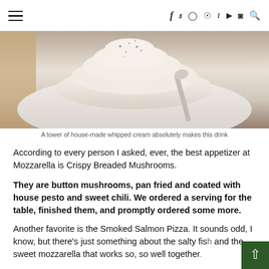☰  f  y  ⊙  ⊕  t  ▶  ◎  🔍
[Figure (photo): Close-up overhead photo of a drink topped with a large tower of house-made whipped cream, dusted with cocoa or spices, served in a white bowl or mug with a spoon visible]
A tower of house-made whipped cream absolutely makes this drink
According to every person I asked, ever, the best appetizer at Mozzarella is Crispy Breaded Mushrooms.
They are button mushrooms, pan fried and coated with house pesto and sweet chili. We ordered a serving for the table, finished them, and promptly ordered some more.
Another favorite is the Smoked Salmon Pizza. It sounds odd, I know, but there's just something about the salty fish and the sweet mozzarella that works so, so well together.